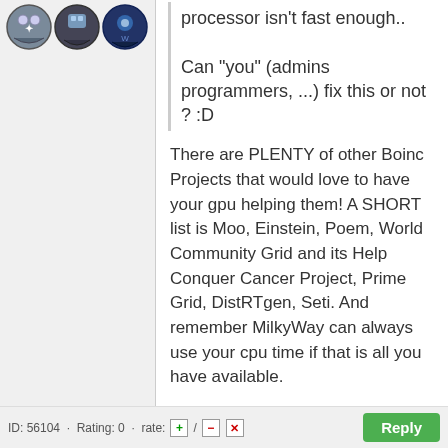[Figure (illustration): Three circular avatar icons side by side representing forum user avatars]
processor isn't fast enough..

Can "you" (admins programmers, ...) fix this or not ? :D
There are PLENTY of other Boinc Projects that would love to have your gpu helping them! A SHORT list is Moo, Einstein, Poem, World Community Grid and its Help Conquer Cancer Project, Prime Grid, DistRTgen, Seti. And remember MilkyWay can always use your cpu time if that is all you have available.
ID: 56104 · Rating: 0 · rate: [+] / [-] [x]   Reply